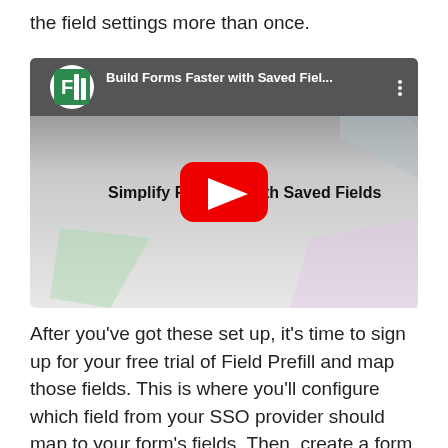the field settings more than once.
[Figure (screenshot): YouTube video thumbnail showing 'Build Forms Faster with Saved Fiel...' with a Formstack logo icon on the left, a red YouTube play button in the center, and the text 'Simplify Form Creation with Saved Fields' displayed on the video.]
After you've got these set up, it's time to sign up for your free trial of Field Prefill and map those fields. This is where you'll configure which field from your SSO provider should map to your form's fields. Then, create a form and toggle on that Field Prefill option. Add the drag and drop